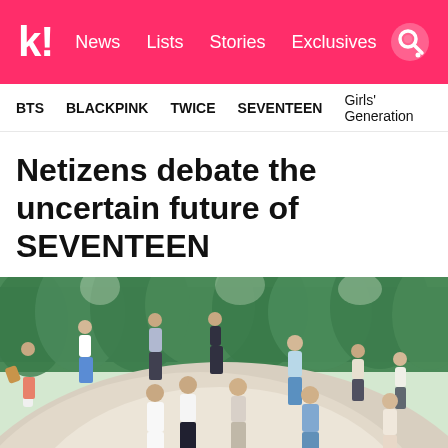k! News Lists Stories Exclusives
BTS  BLACKPINK  TWICE  SEVENTEEN  Girls' Generation
Netizens debate the uncertain future of SEVENTEEN
[Figure (photo): Group photo of SEVENTEEN members running and playing on a large sandy/rocky hill outdoors with green forest trees in the background]